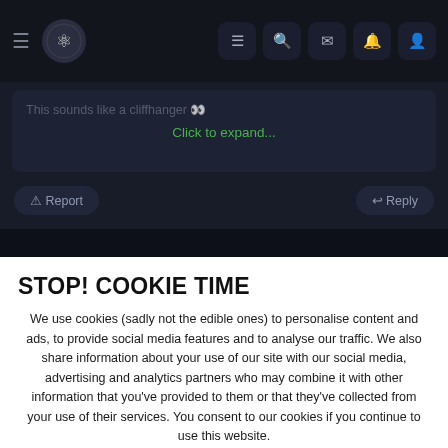[Figure (screenshot): Dark themed website navigation bar with hamburger menu, logo, and icons for list, search, mail, notification, and user profile]
This sounds like a cliffhanger 👀
Click to expand...
⊙ Report
↩ Reply
STOP! COOKIE TIME
We use cookies (sadly not the edible ones) to personalise content and ads, to provide social media features and to analyse our traffic. We also share information about your use of our site with our social media, advertising and analytics partners who may combine it with other information that you've provided to them or that they've collected from your use of their services. You consent to our cookies if you continue to use this website.
✓ ACCEPT